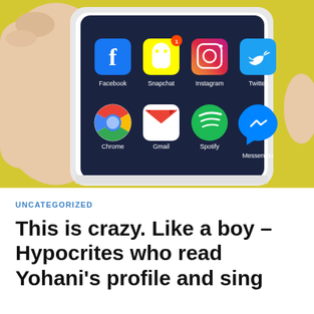[Figure (photo): A hand holding a smartphone with a dark blue screen showing social media app icons: Facebook, Snapchat (with notification badge '1'), Instagram, Twitter in top row; Chrome, Gmail, Spotify, Messenger in bottom row. Yellow background behind the hand.]
UNCATEGORIZED
This is crazy. Like a boy – Hypocrites who read Yohani's profile and sing